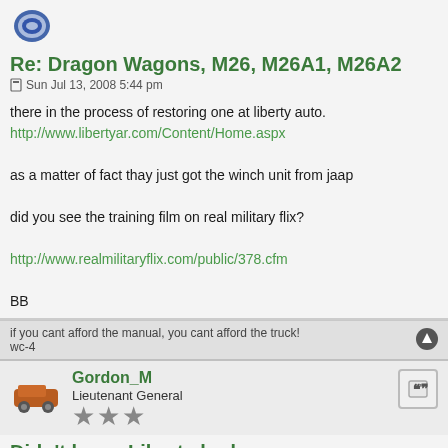[Figure (photo): Forum avatar icon - blue/purple circular emblem]
Re: Dragon Wagons, M26, M26A1, M26A2
Sun Jul 13, 2008 5:44 pm
there in the process of restoring one at liberty auto.
http://www.libertyar.com/Content/Home.aspx

as a matter of fact thay just got the winch unit from jaap

did you see the training film on real military flix?

http://www.realmilitaryflix.com/public/378.cfm

BB
if you cant afford the manual, you cant afford the truck!
wc-4
[Figure (photo): Forum avatar - orange/brown military vehicle icon]
Gordon_M
Lieutenant General
Didn't know Liberty had one
Sun Jul 13, 2008 6:48 pm